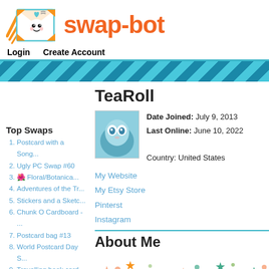[Figure (logo): Swap-bot logo with envelope mascot and orange text 'swap-bot']
Login   Create Account
[Figure (other): Diagonal teal striped decorative banner bar]
TeaRoll
[Figure (photo): Profile photo of a blue plush/craft figure]
Date Joined: July 9, 2013
Last Online: June 10, 2022

Country: United States
My Website
My Etsy Store
Pinterst
Instagram
Top Swaps
Postcard with a Song...
Ugly PC Swap #60
🌺 Floral/Botanica...
Adventures of the Tr...
Stickers and a Sketc...
Chunk O Cardboard - ...
Postcard bag #13
World Postcard Day S...
Travelling book card...
Alphabet ATC - L (ro...
About Me
[Figure (illustration): Colorful stars and dots decorative illustration]